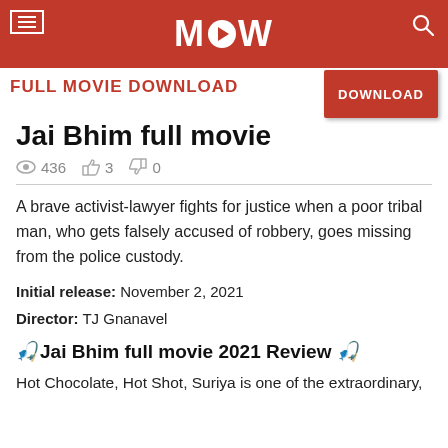MOW FULL MOVIE DOWNLOAD
Jai Bhim full movie
👁 436  👍 3  👎 0
A brave activist-lawyer fights for justice when a poor tribal man, who gets falsely accused of robbery, goes missing from the police custody.
Initial release: November 2, 2021
Director: TJ Gnanavel
🎬Jai Bhim full movie 2021 Review 🎬
Hot Chocolate, Hot Shot, Suriya is one of the extraordinary,